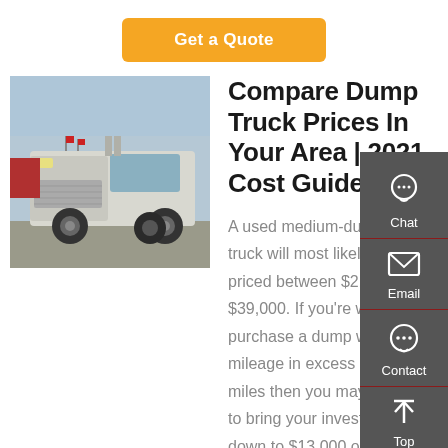Get a Quote
[Figure (photo): White/grey semi truck in a parking lot, front-side view, with other trucks in the background under a blue sky.]
Compare Dump Truck Prices In Your Area | 2021 Cost Guide | ...
A used medium-duty dump truck will most likely be priced between $21,000 to $39,000. If you're will to purchase a dump with mileage in excess of 100,000 miles then you may be able to bring your investment down to $13,000 or so, though